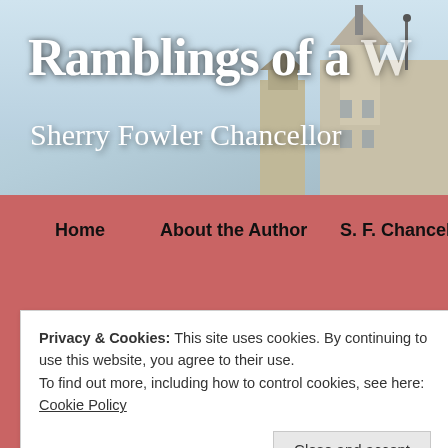[Figure (screenshot): Blog header banner with sky and building photograph background]
Ramblings of a W
Sherry Fowler Chancellor
Home   About the Author   S. F. Chancellor, Young Adult B
Privacy & Cookies: This site uses cookies. By continuing to use this website, you agree to their use.
To find out more, including how to control cookies, see here: Cookie Policy
Close and accept
the books I read to have a beginning, a middle and an end. Period. End of se